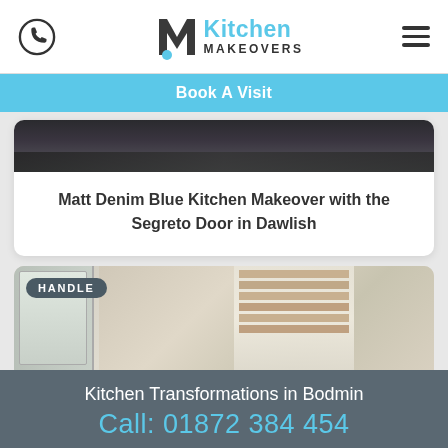Kitchen Makeovers - phone icon, logo, hamburger menu
Book A Visit
[Figure (photo): Dark kitchen interior photo strip at top of card]
Matt Denim Blue Kitchen Makeover with the Segreto Door in Dawlish
[Figure (photo): Kitchen interior photo with HANDLE badge overlay]
Kitchen Transformations in Bodmin
Call: 01872 384 454